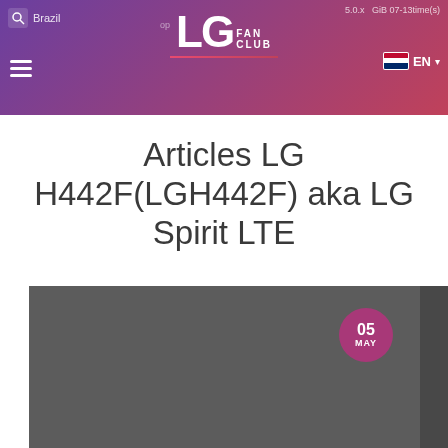LG Fan Club — Brazil | 5.0.x GiB 07-13 time(s) | EN
Articles LG H442F(LGH442F) aka LG Spirit LTE
[Figure (screenshot): Dark gray article thumbnail image with a circular date badge showing '05 MAY' in pink/purple at the top right]